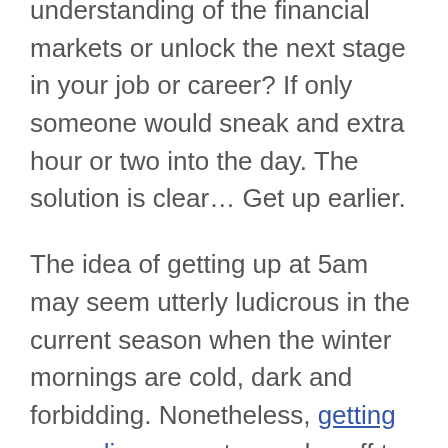understanding of the financial markets or unlock the next stage in your job or career? If only someone would sneak and extra hour or two into the day. The solution is clear… Get up earlier.
The idea of getting up at 5am may seem utterly ludicrous in the current season when the winter mornings are cold, dark and forbidding. Nonetheless, getting up earlier can get your day off to a far more productive start. You can cook a more nutritious breakfast instead of relying on a cereal bar scoffed down in the car. You can get in a quick run